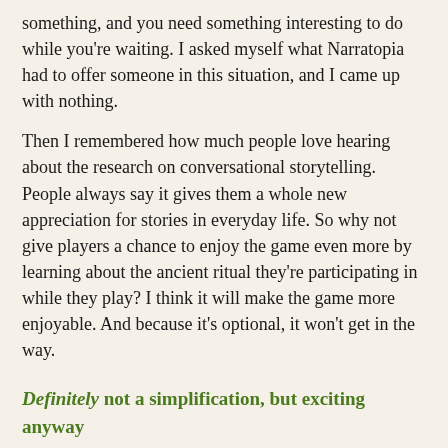something, and you need something interesting to do while you're waiting. I asked myself what Narratopia had to offer someone in this situation, and I came up with nothing.
Then I remembered how much people love hearing about the research on conversational storytelling. People always say it gives them a whole new appreciation for stories in everyday life. So why not give players a chance to enjoy the game even more by learning about the ancient ritual they're participating in while they play? I think it will make the game more enjoyable. And because it's optional, it won't get in the way.
Definitely not a simplification, but exciting anyway
I've saved my favorite improvement for last. This idea grew out of four things that happened over the past few years. I'll try to get them into chronological order.
Every time my husband and son and I played Narratopia, after the game, I would pick up the story names we had written and feel a little sense of loss. I